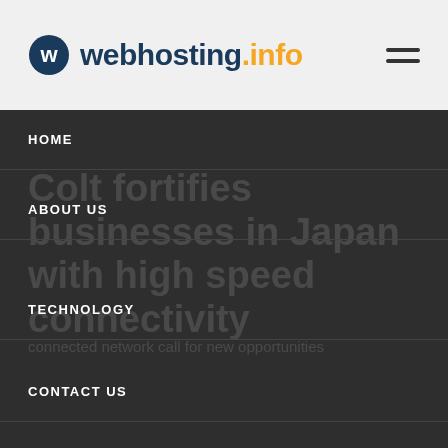webhosting.info
HOME
Colt fortifies businesses in Japan with high speed connectivity
ABOUT US
TECHNOLOGY
connected network call for new opportunities
CONTACT US
DISCLAIMER